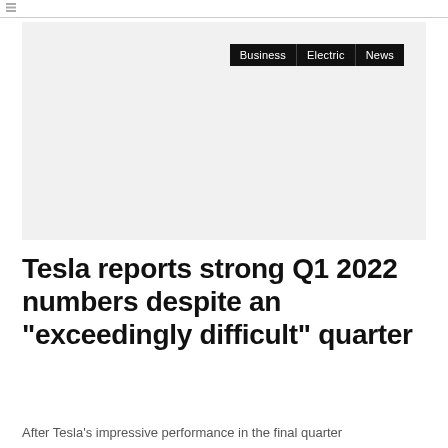[Figure (photo): Large rectangular placeholder image area with light gray background]
Tesla reports strong Q1 2022 numbers despite an “exceedingly difficult” quarter
After Tesla’s impressive performance in the final quarter